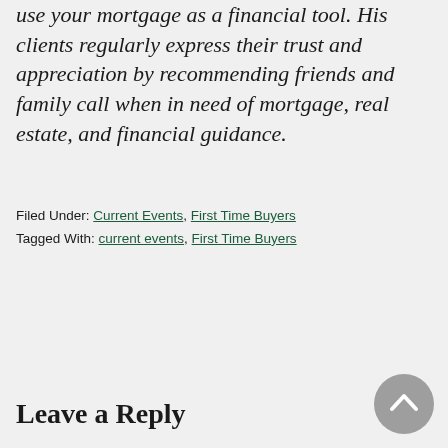use your mortgage as a financial tool. His clients regularly express their trust and appreciation by recommending friends and family call when in need of mortgage, real estate, and financial guidance.
Filed Under: Current Events, First Time Buyers
Tagged With: current events, First Time Buyers
Leave a Reply